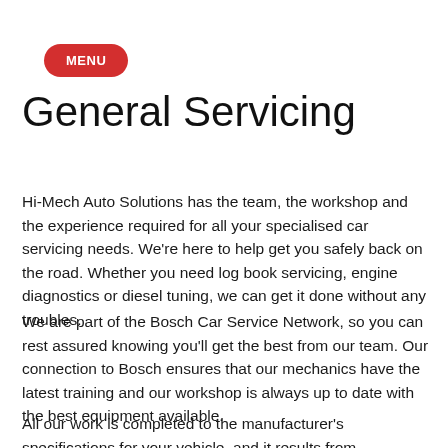MENU
General Servicing
Hi-Mech Auto Solutions has the team, the workshop and the experience required for all your specialised car servicing needs. We're here to help get you safely back on the road. Whether you need log book servicing, engine diagnostics or diesel tuning, we can get it done without any troubles.
We are part of the Bosch Car Service Network, so you can rest assured knowing you'll get the best from our team. Our connection to Bosch ensures that our mechanics have the latest training and our workshop is always up to date with the best equipment available.
All our work is completed to the manufacturer's specifications for your vehicle, and it results from